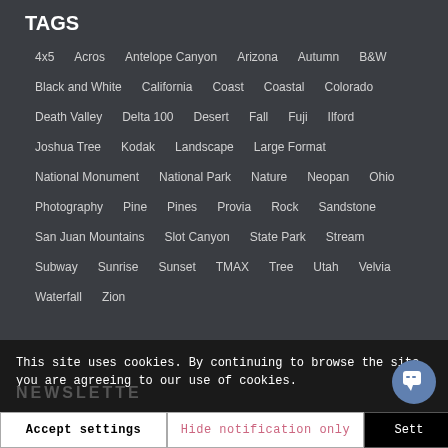TAGS
4x5   Acros   Antelope Canyon   Arizona   Autumn   B&W   Black and White   California   Coast   Coastal   Colorado   Death Valley   Delta 100   Desert   Fall   Fuji   Ilford   Joshua Tree   Kodak   Landscape   Large Format   National Monument   National Park   Nature   Neopan   Ohio   Photography   Pine   Pines   Provia   Rock   Sandstone   San Juan Mountains   Slot Canyon   State Park   Stream   Subway   Sunrise   Sunset   TMAX   Tree   Utah   Velvia   Waterfall   Zion
This site uses cookies. By continuing to browse the site, you are agreeing to our use of cookies.
Accept settings   Hide notification only   Settings